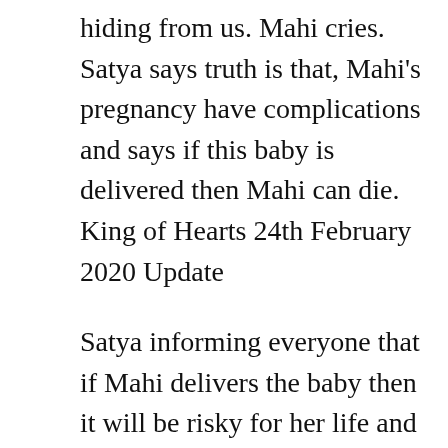hiding from us. Mahi cries. Satya says truth is that, Mahi's pregnancy have complications and says if this baby is delivered then Mahi can die. King of Hearts 24th February 2020 Update
Satya informing everyone that if Mahi delivers the baby then it will be risky for her life and if she aborts the baby then she will never conceive. Mahi says it is her life and her decision and that she will deliver the baby. Satya asks who gave you right to decide and says they are my babies and you are my wife. They argue. Satya decides to get kids aborted.
Mahi runs to room. She asks Mitul and Payal to make Satya understand and says may be me and my kids will be fine. Satya tells everyone that Doctor said that there is a 50 percent chances and asks if this is a risk